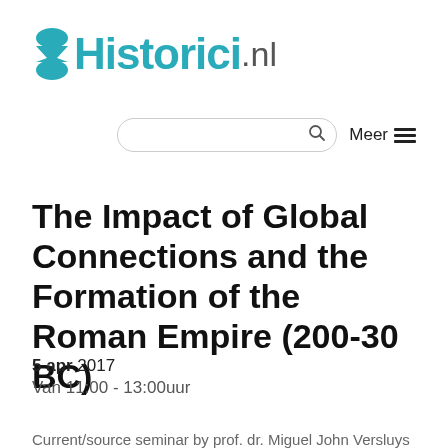HistoriciNL
The Impact of Global Connections and the Formation of the Roman Empire (200-30 BC)
5 apr 2017
Van 11:00 - 13:00uur
Current/source seminar by prof. dr. Miguel John Versluys